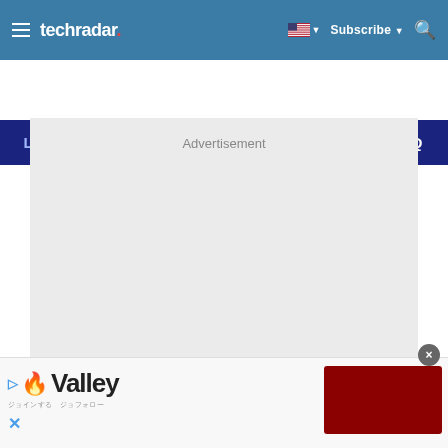techradar — Subscribe
[Figure (screenshot): TechRadar navigation bar with hamburger menu, techradar logo, US flag language selector, Subscribe button, and search icon on a steel blue background]
[Figure (screenshot): Dark navy blue banner advertisement strip: LEARN UX DESIGN WITH GB CREATIVE BLOQ lettering]
Advertisement
[Figure (screenshot): Valley app bottom advertisement banner with play icon, red flame icon, Valley logo text, sub-tagline, close X button, and dark red button on the right]